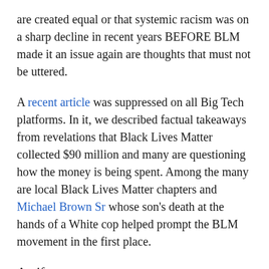are created equal or that systemic racism was on a sharp decline in recent years BEFORE BLM made it an issue again are thoughts that must not be uttered.
A recent article was suppressed on all Big Tech platforms. In it, we described factual takeaways from revelations that Black Lives Matter collected $90 million and many are questioning how the money is being spent. Among the many are local Black Lives Matter chapters and Michael Brown Sr whose son's death at the hands of a White cop helped prompt the BLM movement in the first place.
Antifa
Talking about Antifa in a negative light won't